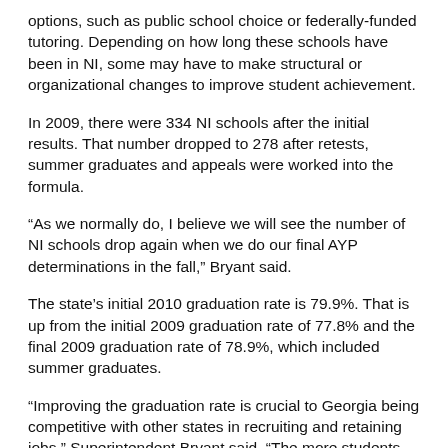options, such as public school choice or federally-funded tutoring. Depending on how long these schools have been in NI, some may have to make structural or organizational changes to improve student achievement.
In 2009, there were 334 NI schools after the initial results. That number dropped to 278 after retests, summer graduates and appeals were worked into the formula.
“As we normally do, I believe we will see the number of NI schools drop again when we do our final AYP determinations in the fall,” Bryant said.
The state’s initial 2010 graduation rate is 79.9%. That is up from the initial 2009 graduation rate of 77.8% and the final 2009 graduation rate of 78.9%, which included summer graduates.
“Improving the graduation rate is crucial to Georgia being competitive with other states in recruiting and retaining jobs,” Superintendent Bryant said. “The more students graduating from high school with a meaningful diploma, the more